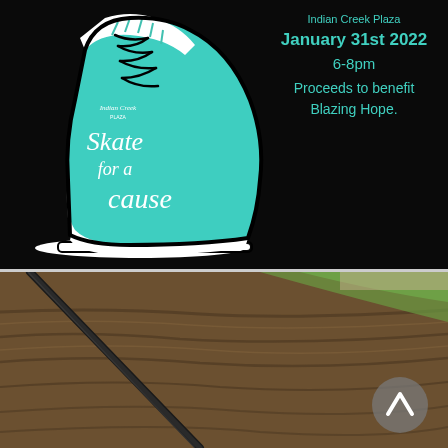[Figure (illustration): Black background with a teal/turquoise ice skate illustration. The skate boot is teal with white laces and black lace details. The text 'Indian Creek Plaza' appears on the skate boot along with the cursive script text 'Skate for a cause' in white lettering on the teal boot.]
January 31st 2022
6-8pm
Proceeds to benefit
Blazing Hope.
[Figure (photo): Outdoor photo showing tilled/plowed dark soil field with a black irrigation or drainage pipe running diagonally across the frame. Green grass and a road or path visible in the upper right corner. A circular scroll-up button icon is overlaid in the lower right.]